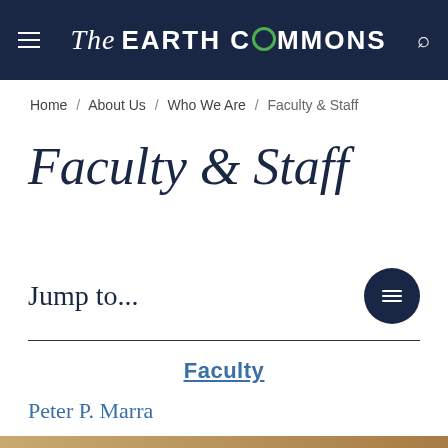The EARTH COMMONS
Home / About Us / Who We Are / Faculty & Staff
Faculty & Staff
Jump to...
Faculty
Peter P. Marra